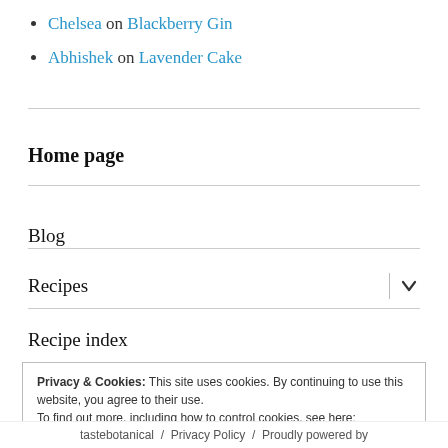Chelsea on Blackberry Gin
Abhishek on Lavender Cake
Home page
Blog
Recipes
Recipe index
Privacy & Cookies: This site uses cookies. By continuing to use this website, you agree to their use.
To find out more, including how to control cookies, see here:
Cookie Policy
Close and accept
tastebotanical / Privacy Policy / Proudly powered by